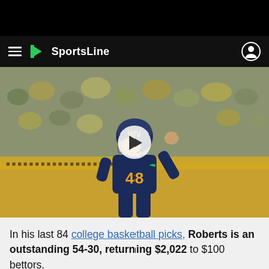SportsLine
[Figure (photo): Football player wearing navy blue West Virginia #48 jersey and helmet with facemask, raising fist in celebration, with blurred stadium crowd in background. A video play button overlay is centered on the image.]
In his last 84 college basketball picks, Roberts is an outstanding 54-30, returning $2,022 to $100 bettors. Anyone who has followed him is WAY UP.
JOIN NOW